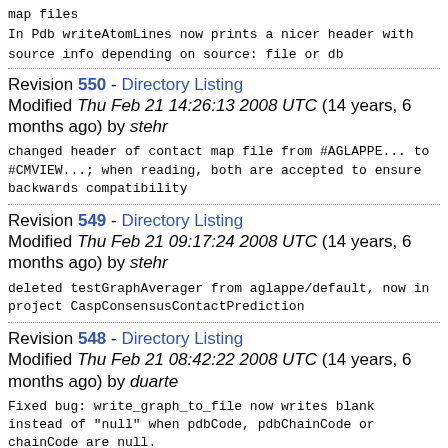map files
In Pdb writeAtomLines now prints a nicer header with source info depending on source: file or db
Revision 550 - Directory Listing
Modified Thu Feb 21 14:26:13 2008 UTC (14 years, 6 months ago) by stehr
changed header of contact map file from #AGLAPPE... to #CMVIEW...; when reading, both are accepted to ensure backwards compatibility
Revision 549 - Directory Listing
Modified Thu Feb 21 09:17:24 2008 UTC (14 years, 6 months ago) by stehr
deleted testGraphAverager from aglappe/default, now in project CaspConsensusContactPrediction
Revision 548 - Directory Listing
Modified Thu Feb 21 08:42:22 2008 UTC (14 years, 6 months ago) by duarte
Fixed bug: write_graph_to_file now writes blank instead of "null" when pdbCode, pdbChainCode or chainCode are null.
Revision 547 - Directory Listing
Modified Wed Feb 20 16:20:26 2008 UTC (14 years, 6